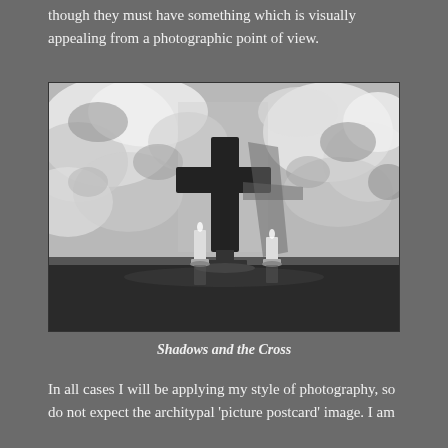though they must have something which is visually appealing from a photographic point of view.
[Figure (photo): Black and white photograph of a cross on an altar or table with two candles, dappled light and leaf shadows cast on the background wall.]
Shadows and the Cross
In all cases I will be applying my style of photography, so do not expect the architypal 'picture postcard' image. I am